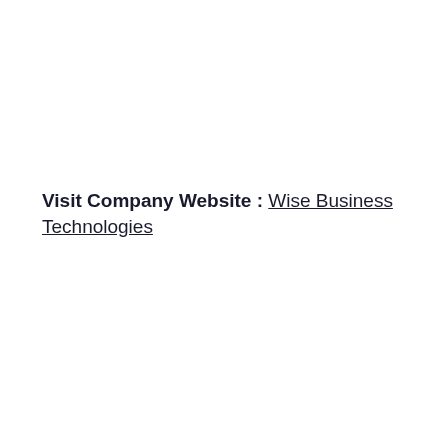Visit Company Website : Wise Business Technologies